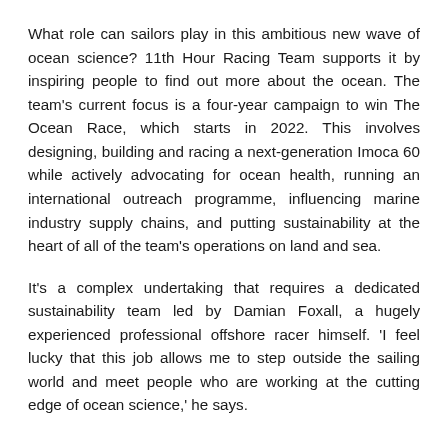What role can sailors play in this ambitious new wave of ocean science? 11th Hour Racing Team supports it by inspiring people to find out more about the ocean. The team's current focus is a four-year campaign to win The Ocean Race, which starts in 2022. This involves designing, building and racing a next-generation Imoca 60 while actively advocating for ocean health, running an international outreach programme, influencing marine industry supply chains, and putting sustainability at the heart of all of the team's operations on land and sea.
It's a complex undertaking that requires a dedicated sustainability team led by Damian Foxall, a hugely experienced professional offshore racer himself. 'I feel lucky that this job allows me to step outside the sailing world and meet people who are working at the cutting edge of ocean science,' he says.